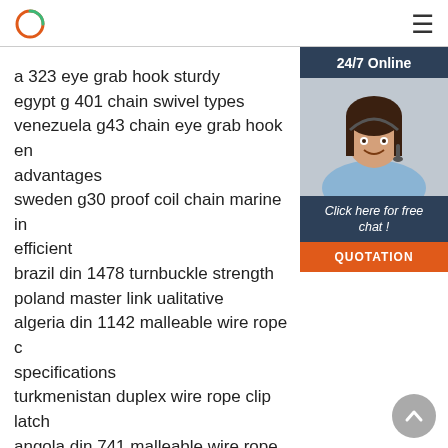Logo / Hamburger menu
a 323 eye grab hook sturdy
egypt g 401 chain swivel types
venezuela g43 chain eye grab hook en advantages
sweden g30 proof coil chain marine in efficient
brazil din 1478 turnbuckle strength
poland master link ualitative
algeria din 1142 malleable wire rope c specifications
turkmenistan duplex wire rope clip latch
angola din 741 malleable wire rope clip feat
central africa h 324 eye slip hook standards
greece type forged master link assembly specifications
[Figure (photo): Customer service representative woman with headset smiling, sidebar with 24/7 Online header, Click here for free chat text, and QUOTATION orange button]